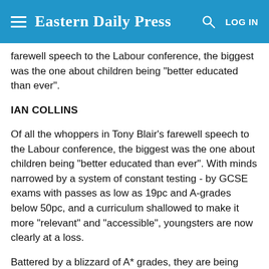Eastern Daily Press
farewell speech to the Labour conference, the biggest was the one about children being "better educated than ever".
IAN COLLINS
Of all the whoppers in Tony Blair's farewell speech to the Labour conference, the biggest was the one about children being "better educated than ever". With minds narrowed by a system of constant testing - by GCSE exams with passes as low as 19pc and A-grades below 50pc, and a curriculum shallowed to make it more "relevant" and "accessible", youngsters are now clearly at a loss.
Battered by a blizzard of A* grades, they are being failed by a schooling regime designed to demonstrate